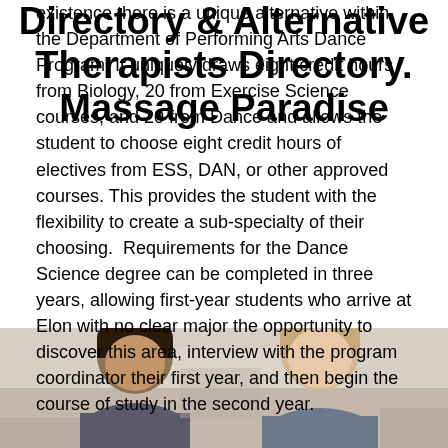Directory & Alternative Therapists Directory. Massage Paradise
existence Department of Performing Arts Dance Program. It uniquely draws eight credit hours from Biology, 20 from Exercise Science courses, and 20 from Dance and allows the student to choose eight credit hours of electives from ESS, DAN, or other approved courses. This provides the student with the flexibility to create a sub-specialty of their choosing.  Requirements for the Dance Science degree can be completed in three years, allowing first-year students who arrive at Elon with no clear major the opportunity to discover this area, interview with the program coordinator their first year, and then begin the course of study in the second year.
[Figure (photo): Two people (students) photographed from the shoulders up in what appears to be a classroom or lab setting. The person on the left has dark hair pulled back, and the person on the right has light/blonde hair.]